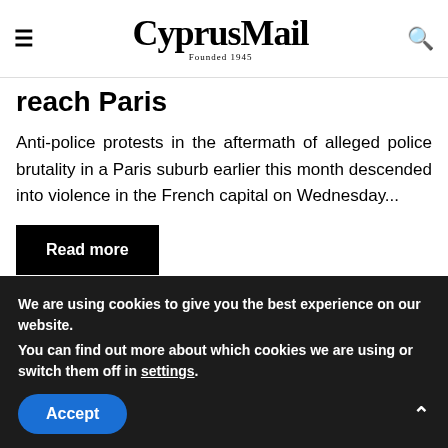CyprusMail Founded 1945
reach Paris
Anti-police protests in the aftermath of alleged police brutality in a Paris suburb earlier this month descended into violence in the French capital on Wednesday...
Read more
[Figure (photo): Night-time street scene with police vehicles, a stop sign, and dark urban environment]
We are using cookies to give you the best experience on our website.
You can find out more about which cookies we are using or switch them off in settings.
Accept